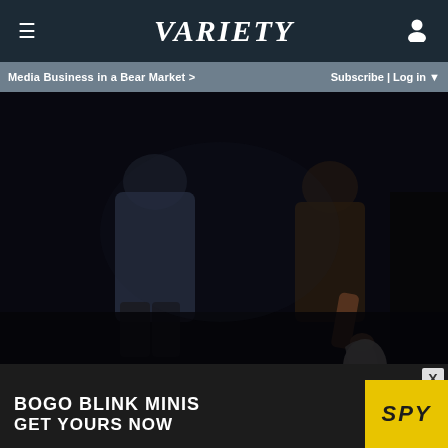Variety
Media Business in a Bear Market > Subscribe | Log in ▼
[Figure (photo): Dark cinematic scene showing figures in dim lighting; one person in a blue-gray garment, another in brown holding a white cloth/handkerchief; moody, dramatic lighting on dark background]
[Figure (photo): Dark strip/teaser article image at bottom]
[Figure (other): Advertisement banner: BOGO BLINK MINIS / GET YOURS NOW with SPY logo in yellow]